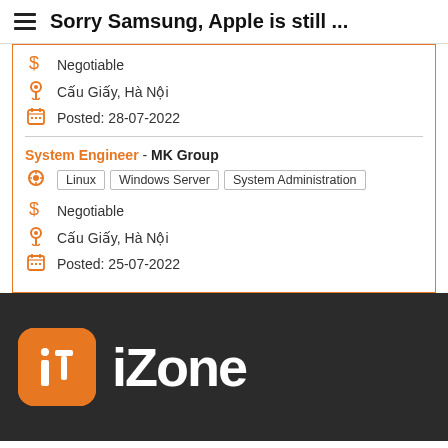Sorry Samsung, Apple is still ...
Negotiable
Cấu Giấy, Hà Nội
Posted: 28-07-2022
System Engineer - MK Group
Linux  Windows Server  System Administration
Negotiable
Cấu Giấy, Hà Nội
Posted: 25-07-2022
[Figure (logo): ITZone logo with orange rounded square icon and white 'it' text, followed by 'iZone' text partially visible in white on dark background]